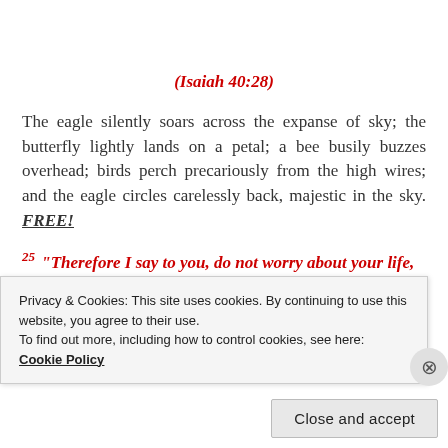(Isaiah 40:28)
The eagle silently soars across the expanse of sky; the butterfly lightly lands on a petal; a bee busily buzzes overhead; birds perch precariously from the high wires; and the eagle circles carelessly back, majestic in the sky. FREE!
25 “Therefore I say to you, do not worry about your life,
Privacy & Cookies: This site uses cookies. By continuing to use this website, you agree to their use. To find out more, including how to control cookies, see here: Cookie Policy
Close and accept